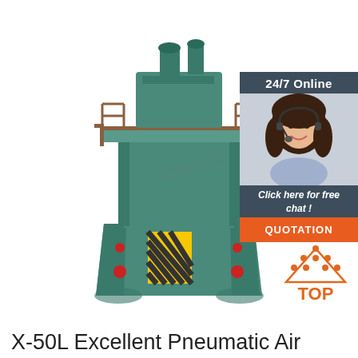[Figure (photo): Large green industrial pneumatic air hammer/forging press machine on white background, with yellow and black hazard striped section visible]
[Figure (infographic): Dark blue sidebar banner with '24/7 Online' text and image of smiling woman with headset, followed by 'Click here for free chat!' text and orange QUOTATION button]
[Figure (logo): Orange triangular 'TOP' badge/logo with dot pattern above letters]
X-50L Excellent Pneumatic Air